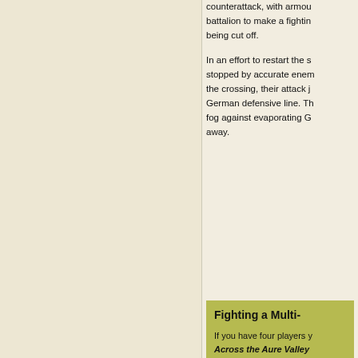counterattack, with armou... battalion to make a fighting... being cut off.
In an effort to restart the s... stopped by accurate enem... the crossing, their attack j... German defensive line. Th... fog against evaporating G... away.
Fighting a Multi-...
If you have four players y... Across the Aure Valley... from Omaha? Or can the...
Last Updated On Tuesday, Janu...